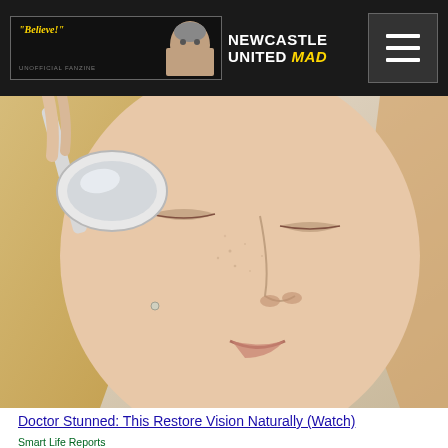Newcastle United Mad — Believe! UNOFFICIAL FANZINE
[Figure (photo): Close-up photo of a woman holding a silver spoon up to her eye area, with closed eyes, light skin, blonde hair, small earring visible. Health/vision advertisement image.]
Doctor Stunned: This Restore Vision Naturally (Watch)
Smart Life Reports
[Figure (photo): Partial image of a yellow item (possibly a banana or food item) with a dark top portion, partially cut off at bottom of page. Second advertisement image.]